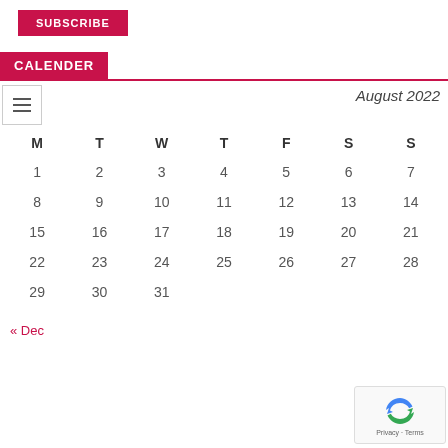SUBSCRIBE
CALENDER
| M | T | W | T | F | S | S |
| --- | --- | --- | --- | --- | --- | --- |
| 1 | 2 | 3 | 4 | 5 | 6 | 7 |
| 8 | 9 | 10 | 11 | 12 | 13 | 14 |
| 15 | 16 | 17 | 18 | 19 | 20 | 21 |
| 22 | 23 | 24 | 25 | 26 | 27 | 28 |
| 29 | 30 | 31 |  |  |  |  |
« Dec